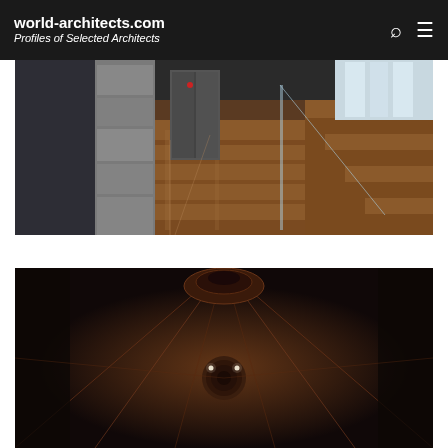world-architects.com Profiles of Selected Architects
[Figure (photo): Interior architectural photo showing a lobby or corridor with polished stone floor, dark wall panels on the left, glass staircase railing with wooden steps ascending to the right, and floor-to-ceiling windows in the background letting in natural light.]
[Figure (photo): Dark interior architectural photo showing a dimly lit ceiling or dome view with diagonal structural lines or cables radiating outward, a circular fixture at top, a spherical camera or light fixture in the center, and two small bright light points, all with a deep warm brown background.]